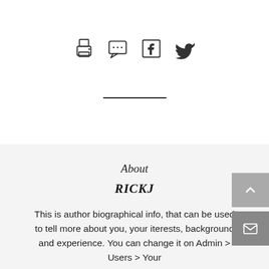[Figure (other): Row of four social/share icons: printer, chat/comment, Facebook, Twitter]
About
RICKJ
This is author biographical info, that can be used to tell more about you, your iterests, background and experience. You can change it on Admin > Users > Your